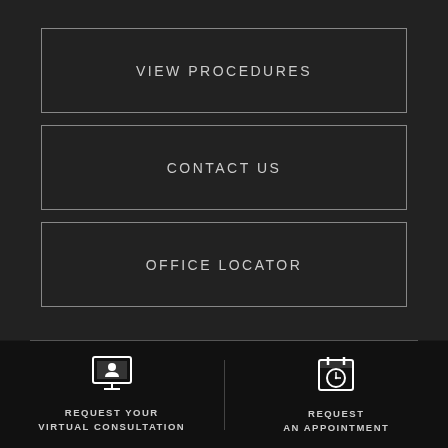VIEW PROCEDURES
CONTACT US
OFFICE LOCATOR
REQUEST YOUR VIRTUAL CONSULTATION
REQUEST AN APPOINTMENT